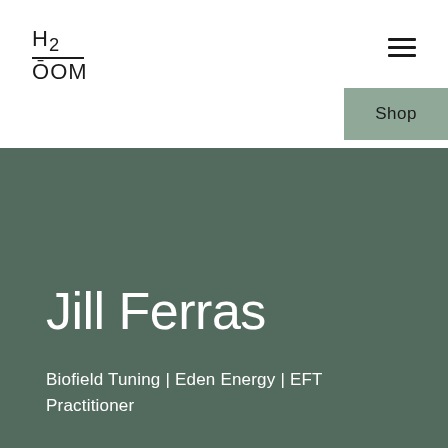[Figure (logo): H2OM logo with H2 on top line, a horizontal rule, and OM below]
[Figure (other): Hamburger menu icon (three horizontal lines)]
Shop
Jill Ferras
Biofield Tuning | Eden Energy | EFT Practitioner